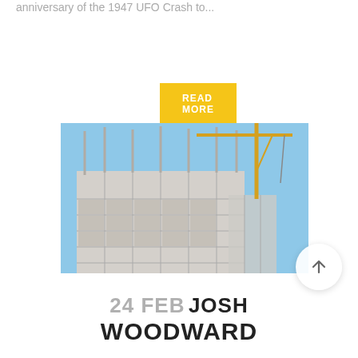anniversary of the 1947 UFO Crash to...
READ MORE
[Figure (photo): Construction site showing a multi-story concrete building skeleton under construction with vertical rebar rods protruding from columns, and a yellow crane visible on the right side against a blue sky.]
24 FEB JOSH WOODWARD